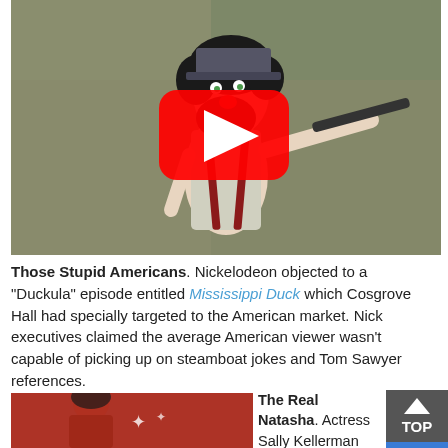[Figure (screenshot): Screenshot of a YouTube video thumbnail showing a cartoon character (scraggly bearded man in suspenders holding a flute/pipe) with a large YouTube play button overlay.]
Those Stupid Americans. Nickelodeon objected to a “Duckula” episode entitled Mississippi Duck which Cosgrove Hall had specially targeted to the American market. Nick executives claimed the average American viewer wasn’t capable of picking up on steamboat jokes and Tom Sawyer references.
[Figure (photo): Partial view of a photo showing a woman against a red background.]
The Real Natasha. Actress Sally Kellerman
[Figure (other): Grey button with upward arrow and text TOP with blue bar at bottom.]